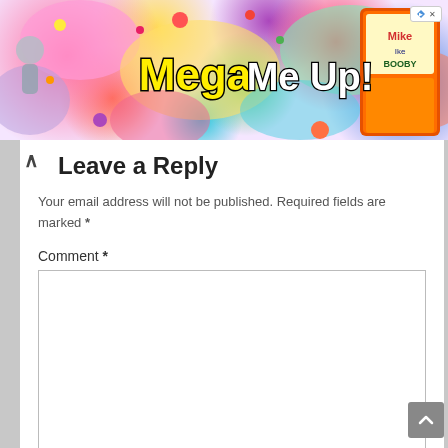[Figure (illustration): Colorful banner advertisement with text 'Mega Me Up!' in yellow with black outline, on a vibrant multicolored candy-themed background. Mike and Ike candy box visible on right side. Small ad icon in top right corner.]
Leave a Reply
Your email address will not be published. Required fields are marked *
Comment *
Name